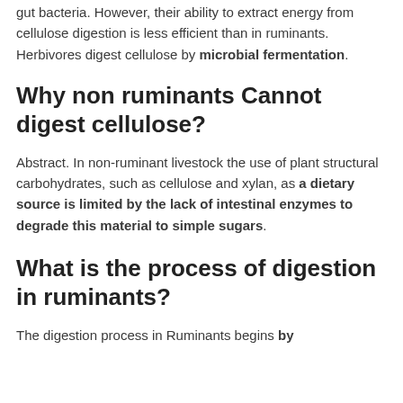gut bacteria. However, their ability to extract energy from cellulose digestion is less efficient than in ruminants. Herbivores digest cellulose by microbial fermentation.
Why non ruminants Cannot digest cellulose?
Abstract. In non-ruminant livestock the use of plant structural carbohydrates, such as cellulose and xylan, as a dietary source is limited by the lack of intestinal enzymes to degrade this material to simple sugars.
What is the process of digestion in ruminants?
The digestion process in Ruminants begins by